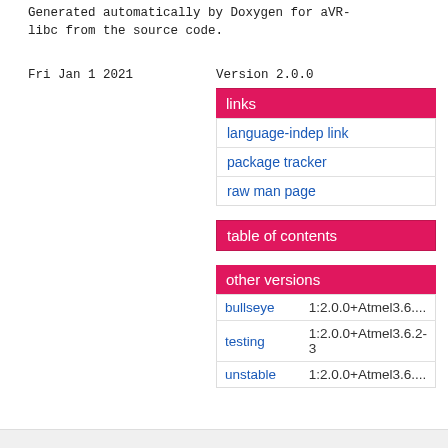Generated automatically by Doxygen for aVR-libc from the source code.
Fri Jan 1 2021
Version 2.0.0
links
language-indep link
package tracker
raw man page
table of contents
other versions
|  |  |
| --- | --- |
| bullseye | 1:2.0.0+Atmel3.6.... |
| testing | 1:2.0.0+Atmel3.6.2-3 |
| unstable | 1:2.0.0+Atmel3.6.... |